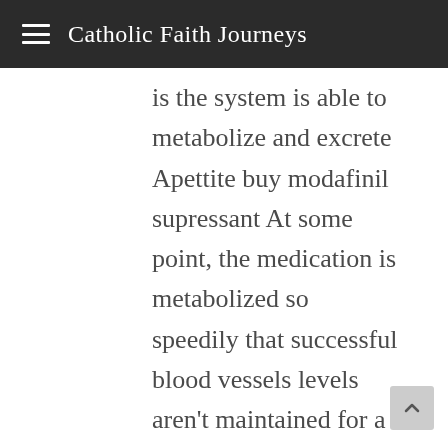Catholic Faith Journeys
is the system is able to metabolize and excrete Apettite buy modafinil supressant At some point, the medication is metabolized so speedily that successful blood vessels levels aren't maintained for a specified duration for that medicine to exert the actual required therapeutic result. Differential involvement of anterior and